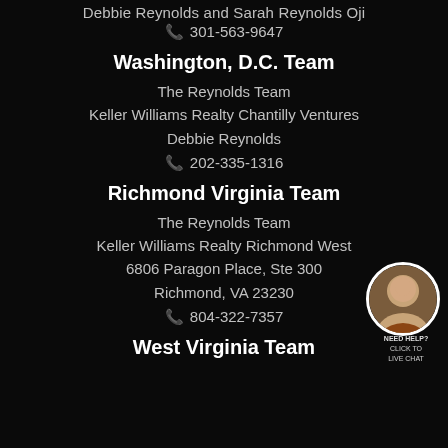Debbie Reynolds and Sarah Reynolds Oji
📞 301-563-9647
Washington, D.C. Team
The Reynolds Team
Keller Williams Realty Chantilly Ventures
Debbie Reynolds
📞 202-335-1316
Richmond Virginia Team
The Reynolds Team
Keller Williams Realty Richmond West
6806 Paragon Place, Ste 300
Richmond, VA 23230
📞 804-322-7357
[Figure (photo): Circular portrait photo of a woman smiling, with dark hair]
NEED HELP? CLICK TO LIVE CHAT
West Virginia Team